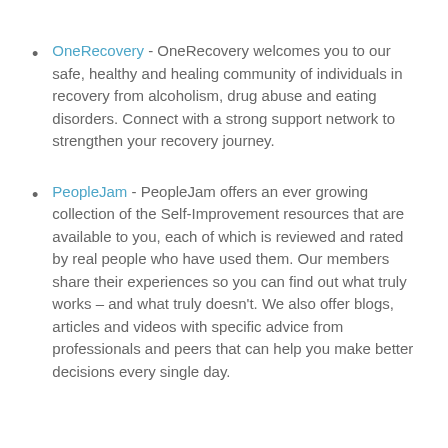OneRecovery - OneRecovery welcomes you to our safe, healthy and healing community of individuals in recovery from alcoholism, drug abuse and eating disorders. Connect with a strong support network to strengthen your recovery journey.
PeopleJam - PeopleJam offers an ever growing collection of the Self-Improvement resources that are available to you, each of which is reviewed and rated by real people who have used them. Our members share their experiences so you can find out what truly works – and what truly doesn't. We also offer blogs, articles and videos with specific advice from professionals and peers that can help you make better decisions every single day.